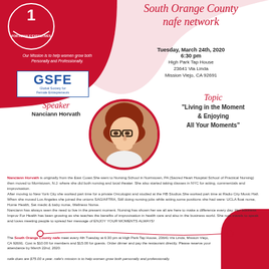[Figure (logo): NAFE (National Association for Female Executives) circular logo with red background, top portion visible]
Our Mission is to help women grow both Personally and Professionally.
[Figure (logo): GSFE - Global Society for Female Entrepreneurs logo in blue and white box]
South Orange County nafe network
Tuesday, March 24th, 2020
6:30 pm
High Park Tap House
23641 Via Linda
Mission Viejo, CA 92691
Speaker
Nanciann Horvath
[Figure (photo): Circular portrait photo of Nanciann Horvath, a woman with glasses and red hair, smiling, wearing white]
Topic
"Living in the Moment & Enjoying All Your Moments"
Nanciann Horvath is originally from the East Coast.She went to Nursing School in Norristown, PA (Sacred Heart Hospital School of Practical Nursing) then moved to Morristown, N.J. where she did both nursing and local theater. She also started taking classes in NYC for acting, commercials and improvisation. After moving to New York City she worked part time for a private Oncologist and studied at the HB Studios.She worked part time at Radio City Music Hall. When she moved Los Angeles she joined the unions SAG/AFTRA, Still doing nursing jobs while acting,some positions she had were: UCLA float nurse, Home Health, Set medic & baby nurse, Wellness Nurse. Nanciann has always seen the need to live in the present moment. Nursing has shown her we all are here to make a difference every day. Her business Improv For Health has been growing as she teaches the benefits of improvisation in health care and also in the business world. She now travels to speak and loves meeting people to spread her message of ENJOY YOUR MOMENTS ALWAYS!
The South Orange County nafe meet every 4th Tuesday at 6:30 pm at High Park Tap House, 23641 Via Linda, Mission Viejo, CA 92691. Cost is $10.00 for members and $15.00 for guests. Order dinner and pay the restaurant directly. Please reserve your attendance by March 22nd, 2020.
nafe dues are $75.00 a year. nafe's mission is to help women grow both personally...